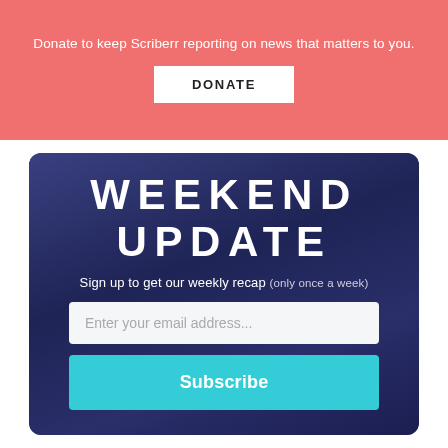Donate to keep Scriberr reporting on news that matters to you.
DONATE
WEEKEND UPDATE
Sign up to get our weekly recap (only once a week)
Enter your email address...
Subscribe